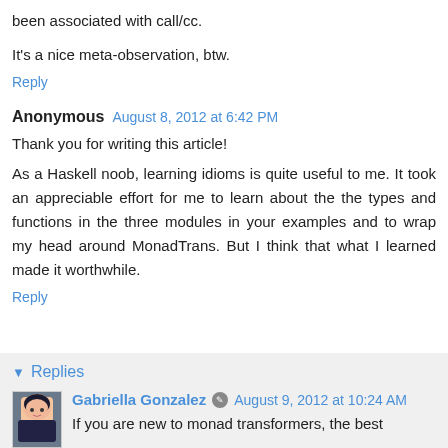been associated with call/cc.
It's a nice meta-observation, btw.
Reply
Anonymous  August 8, 2012 at 6:42 PM
Thank you for writing this article!
As a Haskell noob, learning idioms is quite useful to me. It took an appreciable effort for me to learn about the the types and functions in the three modules in your examples and to wrap my head around MonadTrans. But I think that what I learned made it worthwhile.
Reply
Replies
Gabriella Gonzalez  August 9, 2012 at 10:24 AM
If you are new to monad transformers, the best